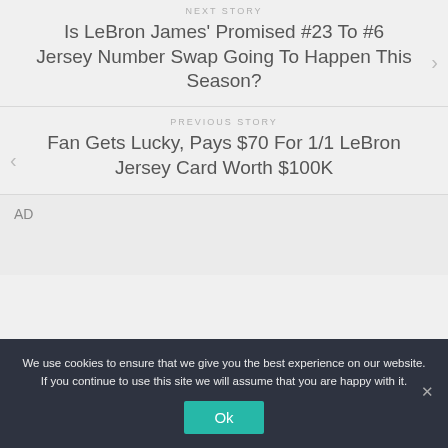NEXT STORY
Is LeBron James' Promised #23 To #6 Jersey Number Swap Going To Happen This Season?
PREVIOUS STORY
Fan Gets Lucky, Pays $70 For 1/1 LeBron Jersey Card Worth $100K
AD
We use cookies to ensure that we give you the best experience on our website. If you continue to use this site we will assume that you are happy with it.